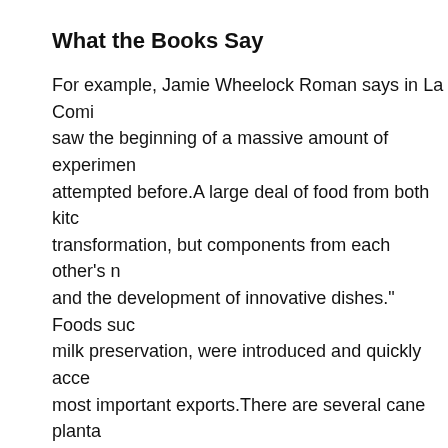What the Books Say
For example, Jamie Wheelock Roman says in La Comi saw the beginning of a massive amount of experimen attempted before. A large deal of food from both kitc transformation, but components from each other's n and the development of innovative dishes." Foods suc milk preservation, were introduced and quickly acce most important exports. There are several cane planta of the area, which was written in 1897.
1. Nevertheless, the introduction of cattle, with it